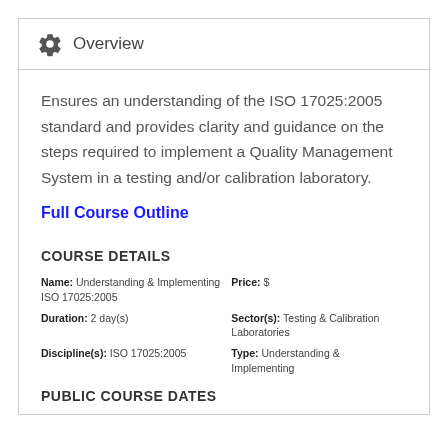Overview
Ensures an understanding of the ISO 17025:2005 standard and provides clarity and guidance on the steps required to implement a Quality Management System in a testing and/or calibration laboratory.
Full Course Outline
COURSE DETAILS
| Name: Understanding & Implementing ISO 17025:2005 | Price: $ |
| Duration: 2 day(s) | Sector(s): Testing & Calibration Laboratories |
| Discipline(s): ISO 17025:2005 | Type: Understanding & Implementing |
PUBLIC COURSE DATES